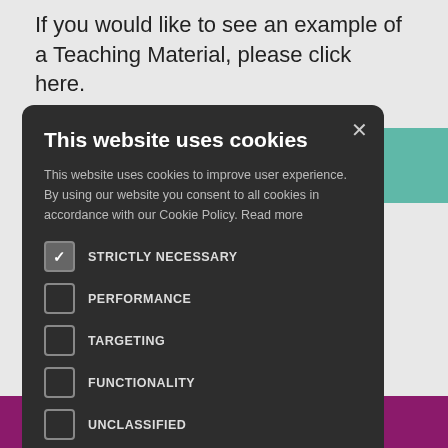If you would like to see an example of a Teaching Material, please click here.
[Figure (screenshot): Cookie consent modal dialog on dark background with title 'This website uses cookies', body text, checkboxes for cookie categories, and Accept All / Decline All buttons]
s of the John Passion, ecific with the nbridge Pre-U
Download Now